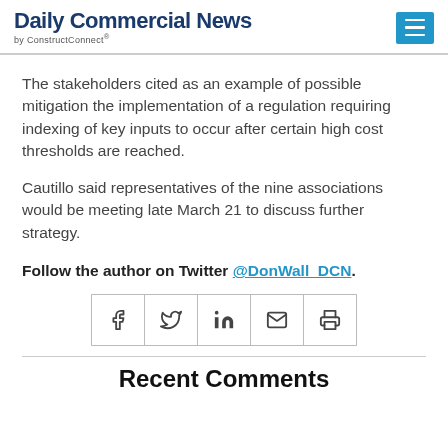Daily Commercial News by ConstructConnect
The stakeholders cited as an example of possible mitigation the implementation of a regulation requiring indexing of key inputs to occur after certain high cost thresholds are reached.
Cautillo said representatives of the nine associations would be meeting late March 21 to discuss further strategy.
Follow the author on Twitter @DonWall_DCN.
[Figure (other): Social share buttons: Facebook, Twitter, LinkedIn, Email, Print]
Recent Comments